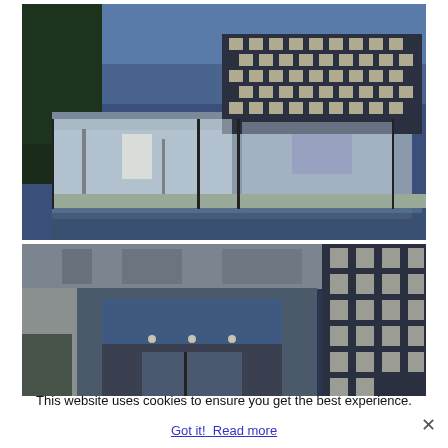[Figure (photo): Modern concrete house with checkerboard pattern facade on upper level, large glass sliding doors revealing lit interior with kitchen and living room, infinity pool in foreground reflecting the building, photographed at dusk.]
[Figure (photo): Close-up architectural detail of the same modern concrete house showing the checkerboard grid facade on the right side, concrete overhang with shadow patterns, and entry area with glass doors, photographed at dusk.]
This website uses cookies to ensure you get the best experience.
Got it!  Read more